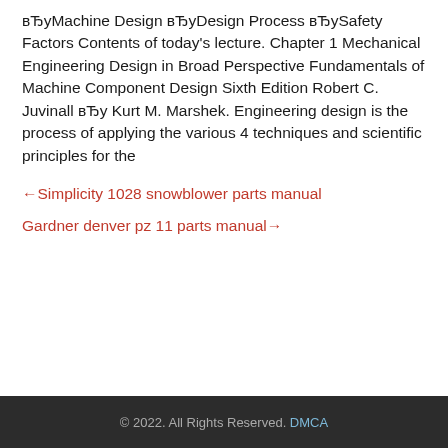вЂуMachine Design вЂуDesign Process вЂуSafety Factors Contents of today's lecture. Chapter 1 Mechanical Engineering Design in Broad Perspective Fundamentals of Machine Component Design Sixth Edition Robert C. Juvinall вЂу Kurt M. Marshek. Engineering design is the process of applying the various 4 techniques and scientific principles for the
←Simplicity 1028 snowblower parts manual
Gardner denver pz 11 parts manual→
© 2022. All Rights Reserved. DMCA